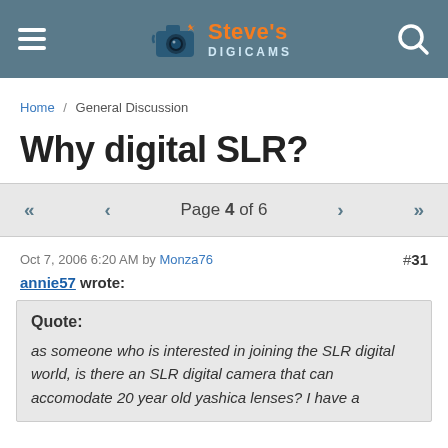Steve's Digicams
Home / General Discussion
Why digital SLR?
Page 4 of 6
Oct 7, 2006 6:20 AM by Monza76  #31
annie57 wrote:
Quote: as someone who is interested in joining the SLR digital world, is there an SLR digital camera that can accomodate 20 year old yashica lenses? I have a